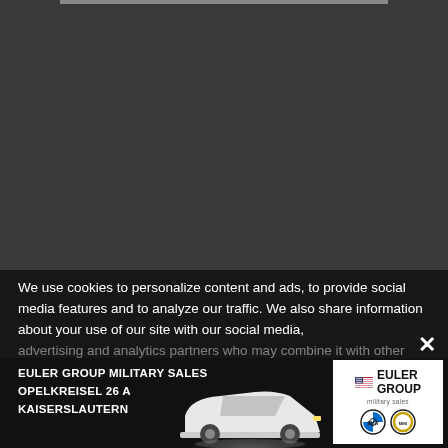[Figure (screenshot): Dark background area of a web page, mostly dark gray with a thin horizontal bar at the top]
We use cookies to personalize content and ads, to provide social media features and to analyze our traffic. We also share information about your use of our site with our social media, advertising and analytics partners who may combine it with other information that you've provided to them or that they've collected from your use of their services.
[Figure (infographic): Advertisement banner for Euler Group Military Sales, Opelkreisel 26 A, Kaiserslautern, featuring a white BMW car on a dark background and the Euler Group logo with BMW and MINI brand icons]